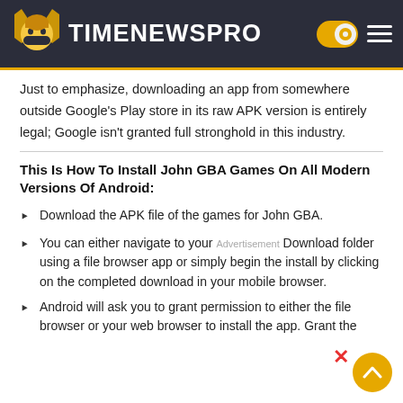TIMENEWSPRO
Just to emphasize, downloading an app from somewhere outside Google's Play store in its raw APK version is entirely legal; Google isn't granted full stronghold in this industry.
This Is How To Install John GBA Games On All Modern Versions Of Android:
Download the APK file of the games for John GBA.
You can either navigate to your Download folder using a file browser app or simply begin the install by clicking on the completed download in your mobile browser.
Android will ask you to grant permission to either the file browser or your web browser to install the app. Grant the